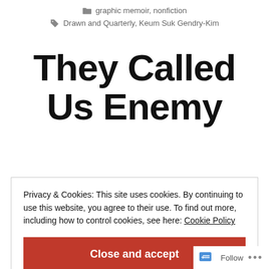graphic memoir, nonfiction
Drawn and Quarterly, Keum Suk Gendry-Kim
They Called Us Enemy
Privacy & Cookies: This site uses cookies. By continuing to use this website, you agree to their use. To find out more, including how to control cookies, see here: Cookie Policy
Close and accept
Follow ...